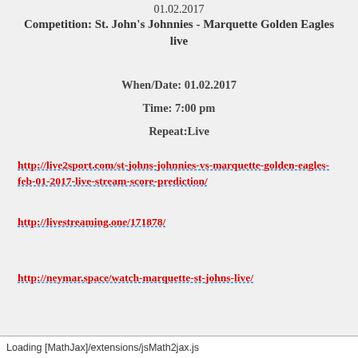01.02.2017
Competition: St. John's Johnnies - Marquette Golden Eagles live
When/Date: 01.02.2017
Time: 7:00 pm
Repeat:Live
http://live2sport.com/st-johns-johnnies-vs-marquette-golden-eagles-feb-01-2017-live-stream-score-prediction/
http://livestreaming.one/171878/
http://neymar.space/watch-marquette-st-johns-live/
Loading [MathJax]/extensions/jsMath2jax.js